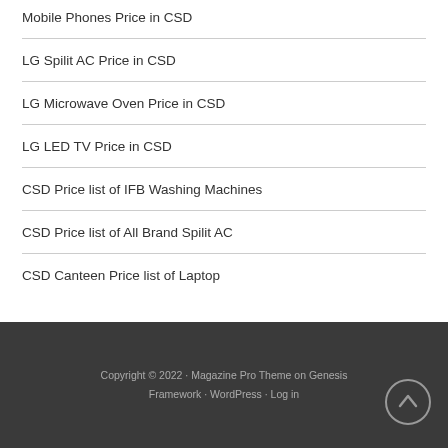Mobile Phones Price in CSD
LG Spilit AC Price in CSD
LG Microwave Oven Price in CSD
LG LED TV Price in CSD
CSD Price list of IFB Washing Machines
CSD Price list of All Brand Spilit AC
CSD Canteen Price list of Laptop
Copyright © 2022 · Magazine Pro Theme on Genesis Framework · WordPress · Log in